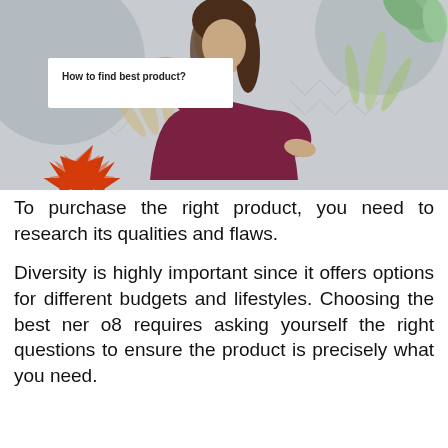[Figure (photo): A smiling woman in a burgundy sweater with hands raised as if framing a box, with a white speech bubble overlay reading 'How to find best product?', decorative autumn leaves and palm fronds in the background, on a grey background with abstract shapes.]
To purchase the right product, you need to research its qualities and flaws.
Diversity is highly important since it offers options for different budgets and lifestyles. Choosing the best ner o8 requires asking yourself the right questions to ensure the product is precisely what you need.